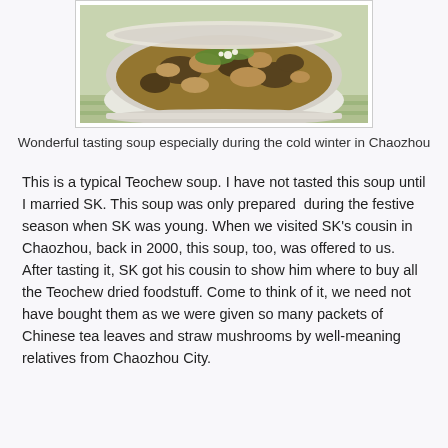[Figure (photo): A white bowl containing Teochew soup with chicken or pork pieces, dark mushrooms, in a brown broth, garnished with green onions and cilantro, placed on a green checkered cloth.]
Wonderful tasting soup especially during the cold winter in Chaozhou
This is a typical Teochew soup. I have not tasted this soup until I married SK. This soup was only prepared  during the festive season when SK was young. When we visited SK's cousin in Chaozhou, back in 2000, this soup, too, was offered to us. After tasting it, SK got his cousin to show him where to buy all the Teochew dried foodstuff. Come to think of it, we need not have bought them as we were given so many packets of Chinese tea leaves and straw mushrooms by well-meaning relatives from Chaozhou City.